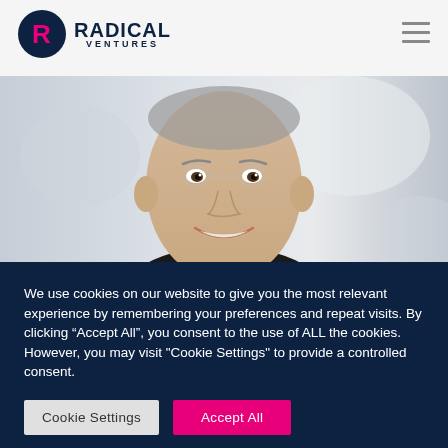[Figure (logo): Radical Ventures logo: dark navy circle with pink R letter, followed by text RADICAL VENTURES]
[Figure (photo): Close-up headshot of a smiling man with short hair wearing a black shirt, blurred office background]
We use cookies on our website to give you the most relevant experience by remembering your preferences and repeat visits. By clicking “Accept All”, you consent to the use of ALL the cookies. However, you may visit "Cookie Settings" to provide a controlled consent.
Cookie Settings
Accept All